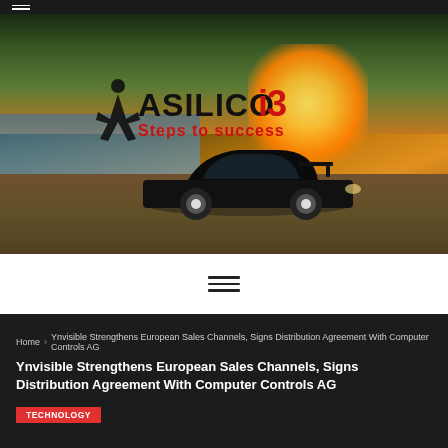[Figure (photo): Hero banner image of a black sports car (Subaru Impreza WRX STI) with a waterfront sunset background and the Asilico i3 logo overlay with tagline Steps to success]
[Figure (other): Hamburger menu icon (three horizontal lines)]
Home > Ynvisible Strengthens European Sales Channels, Signs Distribution Agreement With Computer Controls AG
TECHNOLOGY